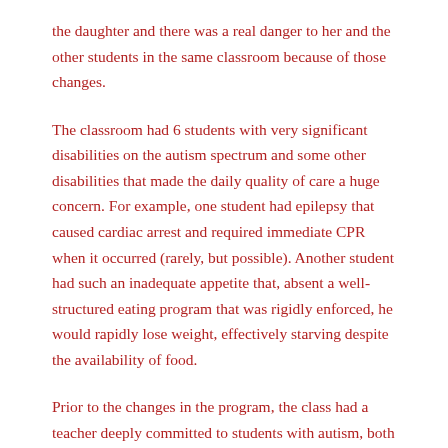the daughter and there was a real danger to her and the other students in the same classroom because of those changes.
The classroom had 6 students with very significant disabilities on the autism spectrum and some other disabilities that made the daily quality of care a huge concern. For example, one student had epilepsy that caused cardiac arrest and required immediate CPR when it occurred (rarely, but possible). Another student had such an inadequate appetite that, absent a well-structured eating program that was rigidly enforced, he would rapidly lose weight, effectively starving despite the availability of food.
Prior to the changes in the program, the class had a teacher deeply committed to students with autism, both by temperament and extensive experience, and two aides who